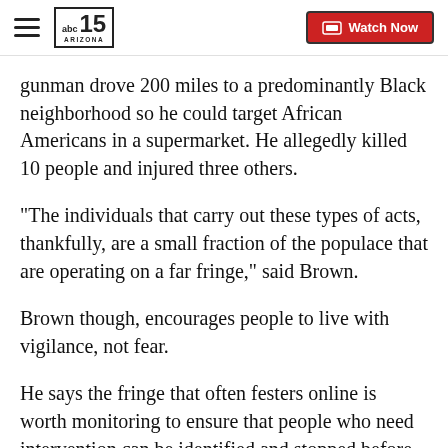abc15 ARIZONA | Watch Now
gunman drove 200 miles to a predominantly Black neighborhood so he could target African Americans in a supermarket. He allegedly killed 10 people and injured three others.
"The individuals that carry out these types of acts, thankfully, are a small fraction of the populace that are operating on a far fringe," said Brown.
Brown though, encourages people to live with vigilance, not fear.
He says the fringe that often festers online is worth monitoring to ensure that people who need intervention can be identified and stopped before their